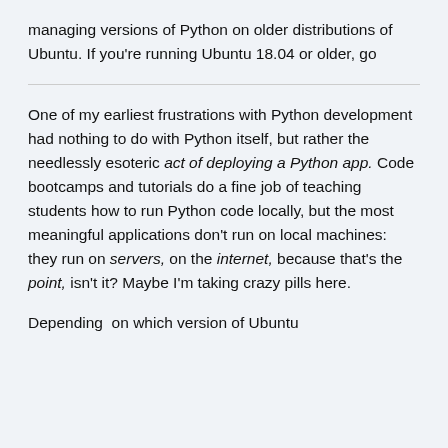managing versions of Python on older distributions of Ubuntu. If you're running Ubuntu 18.04 or older, go
One of my earliest frustrations with Python development had nothing to do with Python itself, but rather the needlessly esoteric act of deploying a Python app. Code bootcamps and tutorials do a fine job of teaching students how to run Python code locally, but the most meaningful applications don't run on local machines: they run on servers, on the internet, because that's the point, isn't it? Maybe I'm taking crazy pills here.
Depending  on which version of Ubuntu